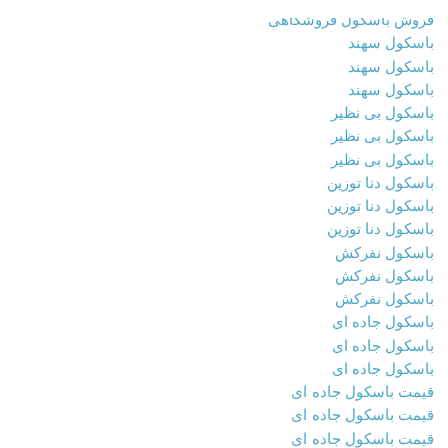فروش باسکول فروشگاهی
باسکول سهند
باسکول سهند
باسکول سهند
باسکول بی نظیر
باسکول بی نظیر
باسکول بی نظیر
باسکول دنا توزین
باسکول دنا توزین
باسکول دنا توزین
باسکول نفرکش
باسکول نفرکش
باسکول نفرکش
باسکول جاده ای
باسکول جاده ای
باسکول جاده ای
قیمت باسکول جاده ای
قیمت باسکول جاده ای
قیمت باسکول جاده ای
----------------------------------------------------------------
بارکد خوان دیتا لاجیک
بارکد خوان فروشگاهی